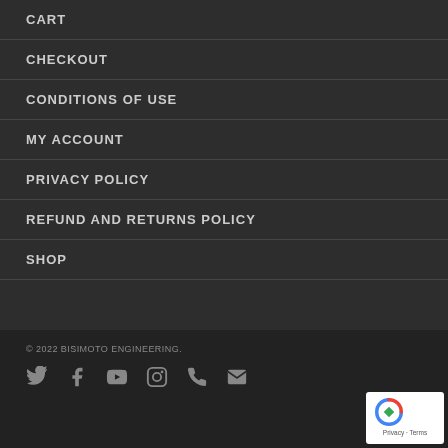CART
CHECKOUT
CONDITIONS OF USE
MY ACCOUNT
PRIVACY POLICY
REFUND AND RETURNS POLICY
SHOP
© 2022 BISIMOTO ENGINEERING.
[Figure (infographic): Social media icons: Twitter, Facebook, YouTube, Instagram, Phone, Email]